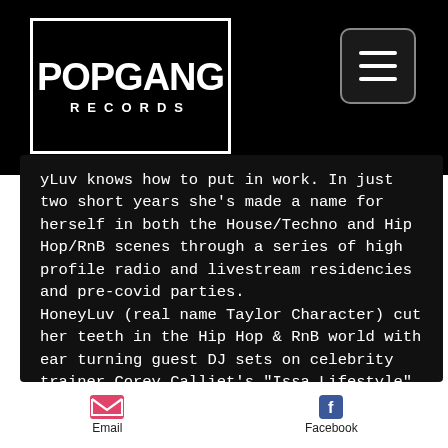[Figure (logo): PopGang Records logo — white graffiti-style text 'POPGANG' above smaller spaced text 'RECORDS', inside a white border rectangle on black background]
[Figure (screenshot): Hamburger menu button — three white horizontal lines inside a rounded rectangle border on dark background]
yLuv knows how to put in work. In just two short years she's made a name for herself in both the House/Techno and Hip Hop/RnB scenes through a series of high profile radio and livestream residencies and pre-covid parties. HoneyLuv (real name Taylor Character) cut her teeth in the Hip Hop & RnB world with ear turning guest DJ sets on celebrity trainer Corey Calliet's "Issa Lifestyle" radio show. Soon after she was performing at all the hottest urban parties in Los Angeles which led to playing all over the US in nightclubs, hotels, and private events; it's always an experience when HoneyLuv is on the decks.
Email   Facebook